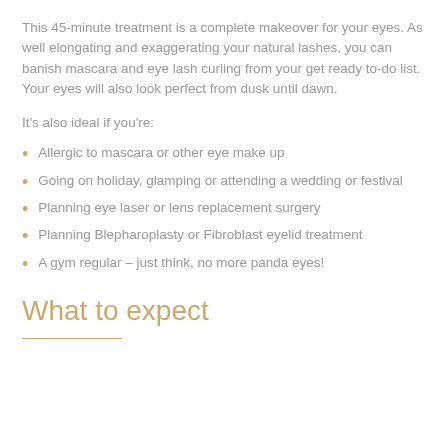This 45-minute treatment is a complete makeover for your eyes. As well elongating and exaggerating your natural lashes, you can banish mascara and eye lash curling from your get ready to-do list. Your eyes will also look perfect from dusk until dawn.
It's also ideal if you're:
Allergic to mascara or other eye make up
Going on holiday, glamping or attending a wedding or festival
Planning eye laser or lens replacement surgery
Planning Blepharoplasty or Fibroblast eyelid treatment
A gym regular – just think, no more panda eyes!
What to expect